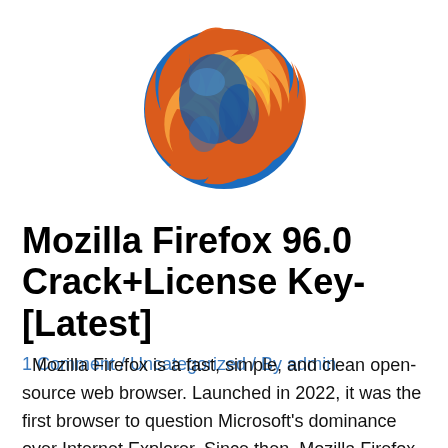[Figure (logo): Mozilla Firefox logo — orange and yellow flame wrapped around a blue globe]
Mozilla Firefox 96.0 Crack+License Key-[Latest]
1 Comment / Uncategorized / By admin
Mozilla Firefox is a fast, simple, and clean open-source web browser. Launched in 2022, it was the first browser to question Microsoft's dominance over Internet Explorer. Since then, Mozilla Firefox has become one of the 7 most popular browsers in the world. The key features that make Mozilla